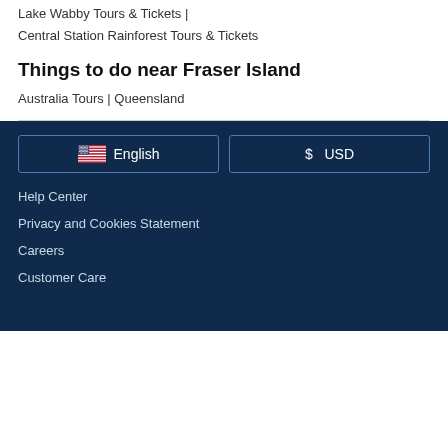Lake Wabby Tours & Tickets |
Central Station Rainforest Tours & Tickets
Things to do near Fraser Island
Australia Tours | Queensland
English
$ USD
Help Center
Privacy and Cookies Statement
Careers
Customer Care